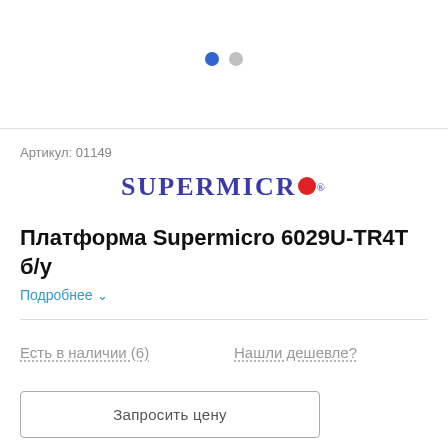[Figure (other): Carousel navigation dots: one filled blue dot and one gray dot, indicating slide 1 of 2]
Артикул: 01149
[Figure (logo): Supermicro logo in dark blue uppercase serif text with a red circle replacing the letter O]
Платформа Supermicro 6029U-TR4T б/у
Подробнее ∨
Есть в наличии (6)
Нашли дешевле?
Запросить цену